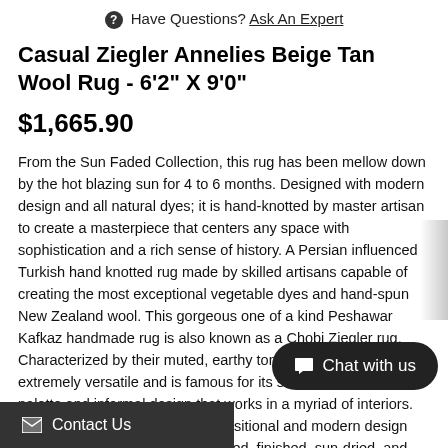Have Questions? Ask An Expert
Casual Ziegler Annelies Beige Tan Wool Rug - 6'2" X 9'0"
$1,665.90
From the Sun Faded Collection, this rug has been mellow down by the hot blazing sun for 4 to 6 months. Designed with modern design and all natural dyes; it is hand-knotted by master artisan to create a masterpiece that centers any space with sophistication and a rich sense of history. A Persian influenced Turkish hand knotted rug made by skilled artisans capable of creating the most exceptional vegetable dyes and hand-spun New Zealand wool. This gorgeous one of a kind Peshawar Kafkaz handmade rug is also known as a Chobi Ziegler rug. Characterized by their muted, earthy tones this gorgeous rug is extremely versatile and is famous for its soft pleasing color palette and informal design that works in a myriad of interiors. Skillfully crafted in traditional, transitional and modern design these rugs have been hand-washed, finished, sun-dried, and have KPSI from 100 to 130 and pile height of 0.25 and colors and patterns in this rug will give your home an The intricate details on this gorgeous